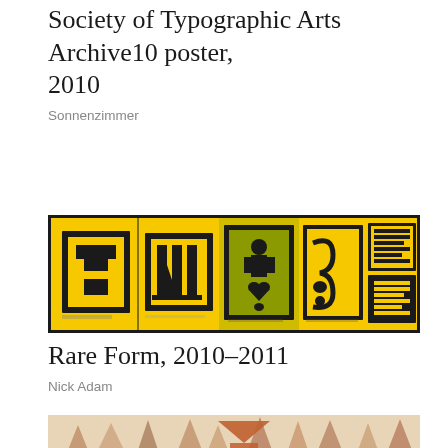Society of Typographic Arts Archive10 poster, 2010
Sonnenzimmer
[Figure (photo): Open accordion-fold booklet with yellow background, showing five panels with black graphic prints in bold typographic and abstract designs.]
Rare Form, 2010–2011
Nick Adam
[Figure (photo): Partial view of a reddish-brown woodcut or linocut print showing trees and geometric shapes against a light background.]